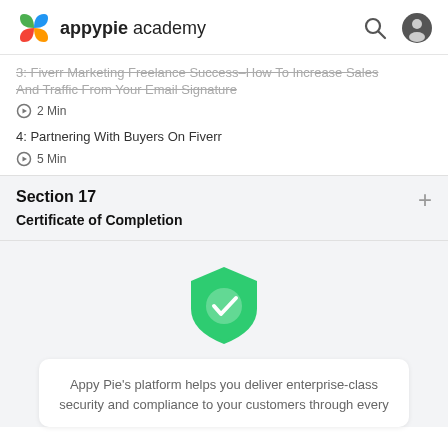appypie academy
3: Fiverr Marketing Freelance Success–How To Increase Sales And Traffic From Your Email Signature
2 Min
4: Partnering With Buyers On Fiverr
5 Min
Section 17
Certificate of Completion
[Figure (illustration): Green shield with white checkmark icon representing security/trust]
Appy Pie's platform helps you deliver enterprise-class security and compliance to your customers through every